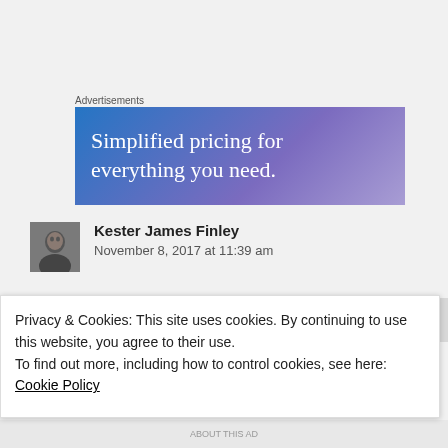Advertisements
[Figure (illustration): Advertisement banner with gradient blue-purple background and white serif text reading 'Simplified pricing for everything you need.']
[Figure (photo): Small square avatar photo of Kester James Finley]
Kester James Finley
November 8, 2017 at 11:39 am
I'm just a couple days late, but thank you, Shirley, for hosting!
Privacy & Cookies: This site uses cookies. By continuing to use this website, you agree to their use.
To find out more, including how to control cookies, see here: Cookie Policy
Close and accept